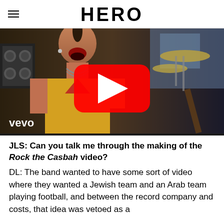HERO
[Figure (screenshot): YouTube video thumbnail showing a punk rock musician singing on stage, wearing a yellow sleeveless jacket and chain necklace. A red YouTube play button is overlaid in the center. The vevo logo appears in the lower left corner.]
JLS: Can you talk me through the making of the Rock the Casbah video?
DL: The band wanted to have some sort of video where they wanted a Jewish team and an Arab team playing football, and between the record company and costs, that idea was vetoed as a